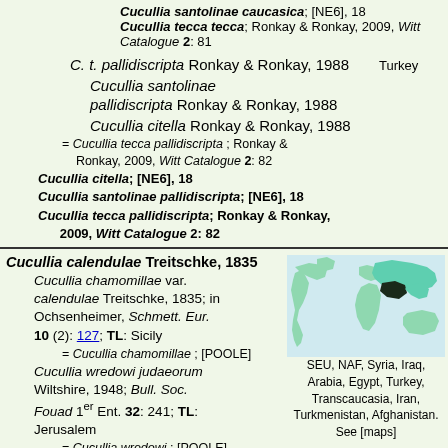Cucullia santolinae caucasica; [NE6], 18
Cucullia tecca tecca; Ronkay & Ronkay, 2009, Witt Catalogue 2: 81
C. t. pallidiscripta Ronkay & Ronkay, 1988    Turkey
Cucullia santolinae pallidiscripta Ronkay & Ronkay, 1988
Cucullia citella Ronkay & Ronkay, 1988
= Cucullia tecca pallidiscripta ; Ronkay & Ronkay, 2009, Witt Catalogue 2: 82
Cucullia citella; [NE6], 18
Cucullia santolinae pallidiscripta; [NE6], 18
Cucullia tecca pallidiscripta; Ronkay & Ronkay, 2009, Witt Catalogue 2: 82
Cucullia calendulae Treitschke, 1835
Cucullia chamomillae var. calendulae Treitschke, 1835; in Ochsenheimer, Schmett. Eur. 10 (2): 127; TL: Sicily
= Cucullia chamomillae ; [POOLE]
Cucullia wredowi judaeorum Wiltshire, 1948; Bull. Soc. Fouad 1er Ent. 32: 241; TL: Jerusalem
= Cucullia wredowi ; [POOLE]
= Cucullia santoliniae ; [AfroMoths]
Cucullia tecca sh. judaeorum Strand, 1916; Arch.
[Figure (map): World map showing distribution range highlighted in teal/green, with dark patch over Middle East/Central Asia region]
SEU, NAF, Syria, Iraq, Arabia, Egypt, Turkey, Transcaucasia, Iran, Turkmenistan, Afghanistan. See [maps]